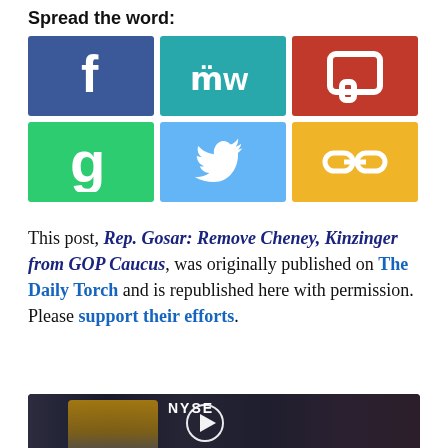Spread the word:
[Figure (infographic): Six social sharing buttons arranged in a 3x2 grid: Facebook (blue), MeWe (teal), Parler (red), Gettr (green), Twitter (light blue), Copy link (yellow/gold)]
This post, Rep. Gosar: Remove Cheney, Kinzinger from GOP Caucus, was originally published on The Daily Torch and is republished here with permission. Please support their efforts.
[Figure (screenshot): Video thumbnail showing NYSE trading floor with a person in the foreground and a play button overlay]